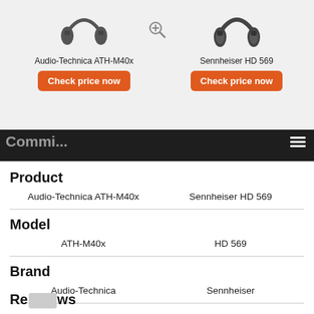[Figure (screenshot): Product comparison page showing two headphones: Audio-Technica ATH-M40x and Sennheiser HD 569, each with an orange 'Check price now' button and partially visible 'Commi...' text on a dark background bar.]
| Product | Audio-Technica ATH-M40x | Sennheiser HD 569 |
| --- | --- | --- |
| Model | ATH-M40x | HD 569 |
| Brand | Audio-Technica | Sennheiser |
Reviews